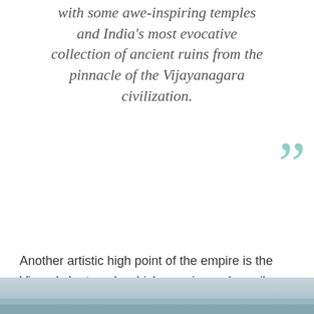with some awe-inspiring temples and India's most evocative collection of ancient ruins from the pinnacle of the Vijayanagara civilization.
Another artistic high point of the empire is the Virupaksha temple which remains as hampi's only working temple. The temple dedicated to Shiva attracts with its 50 m tall 15th century gateway tower and Lakshmi the temple elephant who will bless you in exchange for a coin! But we think the most memorable of all will be experiencing sunrise from the dramatic views overlooking the site at Matanga Hill.
[Figure (photo): Partial image strip at the bottom of the page, showing a misty or hazy landscape.]